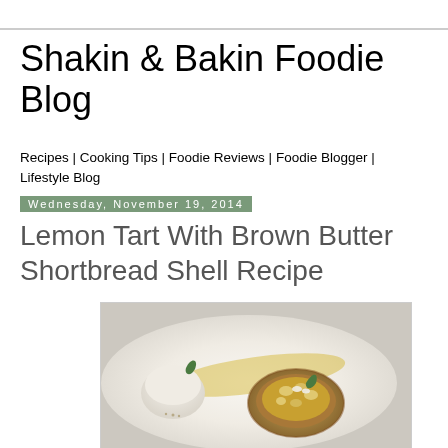Shakin & Bakin Foodie Blog
Recipes | Cooking Tips | Foodie Reviews | Foodie Blogger | Lifestyle Blog
Wednesday, November 19, 2014
Lemon Tart With Brown Butter Shortbread Shell Recipe
[Figure (photo): A lemon tart with brown butter shortbread shell on a white plate, garnished with green leaves, nuts, and yellow lemon curd sauce, served alongside a scoop of ice cream.]